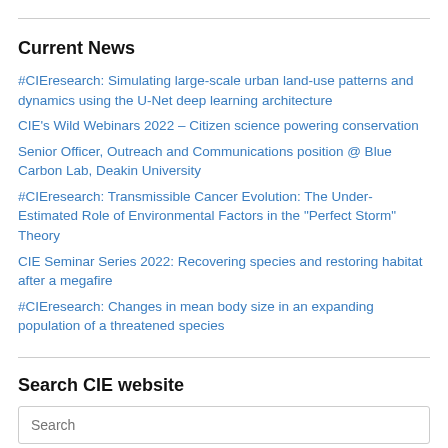Current News
#CIEresearch: Simulating large-scale urban land-use patterns and dynamics using the U-Net deep learning architecture
CIE's Wild Webinars 2022 – Citizen science powering conservation
Senior Officer, Outreach and Communications position @ Blue Carbon Lab, Deakin University
#CIEresearch: Transmissible Cancer Evolution: The Under-Estimated Role of Environmental Factors in the “Perfect Storm” Theory
CIE Seminar Series 2022: Recovering species and restoring habitat after a megafire
#CIEresearch: Changes in mean body size in an expanding population of a threatened species
Search CIE website